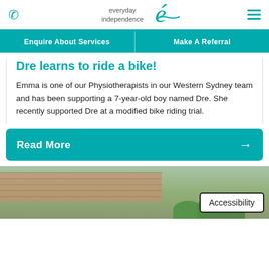everyday independence [logo]
Enquire About Services | Make A Referral
Dre learns to ride a bike!
Emma is one of our Physiotherapists in our Western Sydney team and has been supporting a 7-year-old boy named Dre. She recently supported Dre at a modified bike riding trial.
Read More →
[Figure (photo): Photo of an older man wearing a cap, seated outdoors near a brick building with green shrubs]
Accessibility